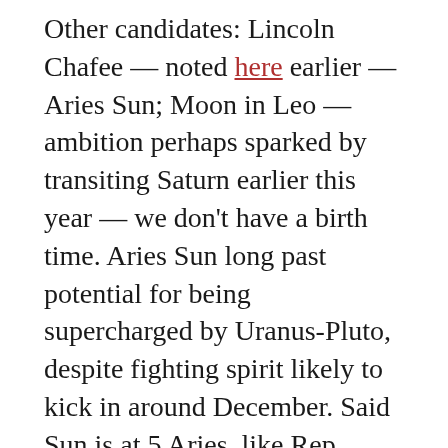Other candidates: Lincoln Chafee — noted here earlier — Aries Sun; Moon in Leo — ambition perhaps sparked by transiting Saturn earlier this year — we don't have a birth time. Aries Sun long past potential for being supercharged by Uranus-Pluto, despite fighting spirit likely to kick in around December. Said Sun is at 5 Aries, like Rep. Jason Chaffetz (discussed last week), and was recently eclipsed. Hmmm.
Martin O'Malley — 12p horoscope here — unknown birth time — Capricorn Sun — Moon in substance-seeking Scorpio nowhere near Saturn's push. What we do see is an intense Sun-Uranus measurement suggesting need to break